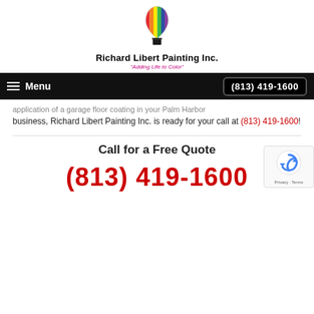[Figure (logo): Richard Libert Painting Inc. logo — colorful hot air balloon above a black basket, with rainbow-colored flame/envelope]
Richard Libert Painting Inc.
"Adding Life to Color"
Menu   (813) 419-1600
application of a garage floor coating in your Palm Harbor business, Richard Libert Painting Inc. is ready for your call at (813) 419-1600!
Call for a Free Quote
(813) 419-1600